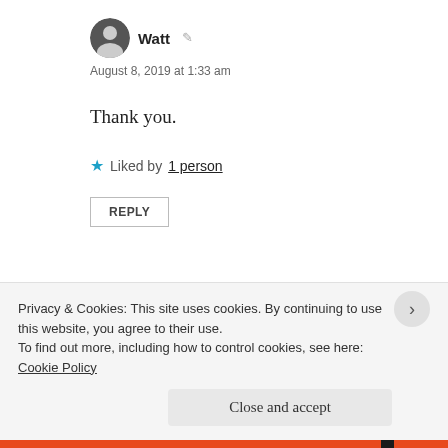Watt
August 8, 2019 at 1:33 am
Thank you.
★ Liked by 1 person
REPLY
charliezero1.wordpress.com
August 8, 2019 at 5:28 pm
You welcome, Watt 🙂
Privacy & Cookies: This site uses cookies. By continuing to use this website, you agree to their use. To find out more, including how to control cookies, see here: Cookie Policy
Close and accept